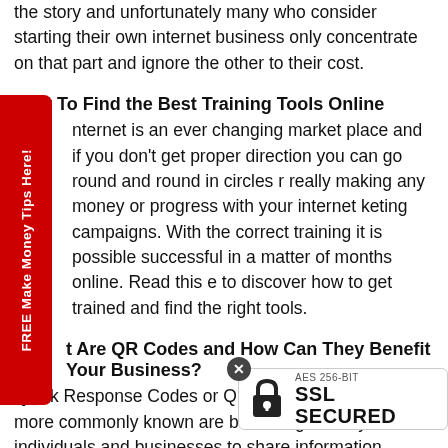the story and unfortunately many who consider starting their own internet business only concentrate on that part and ignore the other to their cost.
How To Find the Best Training Tools Online
Internet is an ever changing market place and if you don't get proper direction you can go round and round in circles never really making any money or progress with your internet marketing campaigns. With the correct training it is possible to be successful in a matter of months online. Read this guide to discover how to get trained and find the right tools.
What Are QR Codes and How Can They Benefit Your Business?
Quick Response Codes or QR Codes as they are more commonly known are becoming i— way for individuals and businesses to share information
[Figure (other): AES 256-BIT SSL SECURED badge with padlock icon and close button]